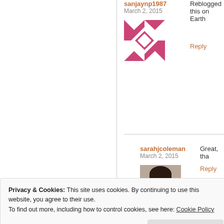sanjaynp1987
March 2, 2015
[Figure (illustration): Avatar image with pink geometric pattern]
Reblogged this on Earth
Reply
sarahjcoleman
March 2, 2015
[Figure (photo): Profile photo of a woman with dark hair]
Great, tha
Reply
[Figure (screenshot): Learn More button area with dark background and teal button]
Privacy & Cookies: This site uses cookies. By continuing to use this website, you agree to their use.
To find out more, including how to control cookies, see here: Cookie Policy
Close and accept